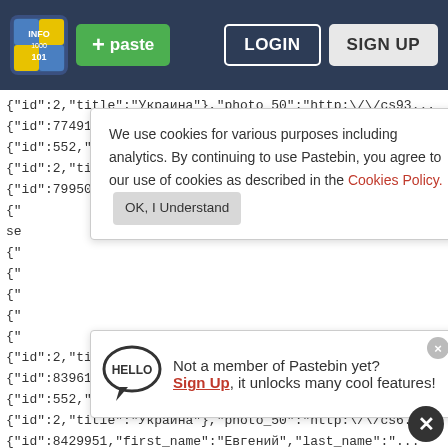Pastebin navigation bar with logo, paste button, login and sign up buttons
{"id":2,"title":"Украина"},{"photo_50":"http:\/\/cs93...
{"id":7749150,"first_name":"Сергей","last_name":"Не...
{"id":552,"title":"Луганск"},{"country":
{"id":2,"title":"Украина"},{"photo_50":"http:\/\/cs63...
{"id":7995096,"first_name":"Александр","last_name":"...
We use cookies for various purposes including analytics. By continuing to use Pastebin, you agree to our use of cookies as described in the Cookies Policy. OK, I Understand
Not a member of Pastebin yet? Sign Up, it unlocks many cool features!
{"id":2,"title":"Украина"},{"photo_50":"http:\/\/c...
{"id":8396126,"first_name":"Анжела","last_name":"Мо...
{"id":552,"title":"Луганск"},{"country":
{"id":2,"title":"Украина"},{"photo_50":"http:\/\/cs6...
{"id":8429951,"first_name":"Евгений","last_name":"...